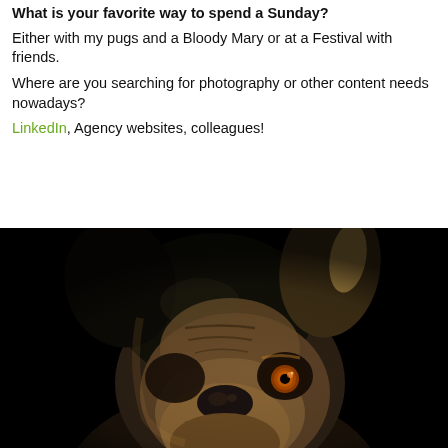What is your favorite way to spend a Sunday?
Either with my pugs and a Bloody Mary or at a Festival with friends.
Where are you searching for photography or other content needs nowadays?
LinkedIn, Agency websites, colleagues!
[Figure (photo): Close-up photo of a pug dog's face against a dark/black background, with dramatic lighting illuminating the dog's wrinkled face and one glowing amber eye visible]